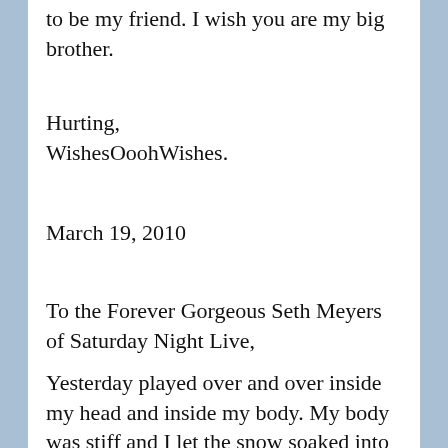to be my friend. I wish you are my big brother.
Hurting,
WishesOoohWishes.
March 19, 2010
To the Forever Gorgeous Seth Meyers of Saturday Night Live,
Yesterday played over and over inside my head and inside my body. My body was stiff and I let the snow soaked into my jeans for a moment to cool me down. The inside of my veins felt hot.